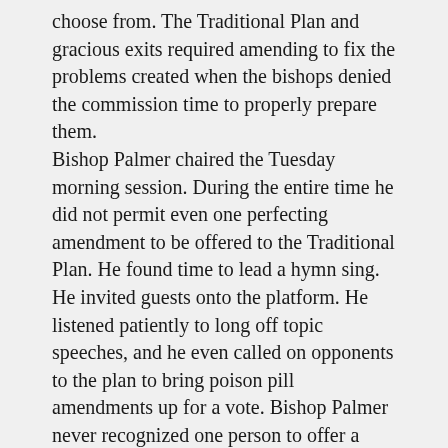choose from. The Traditional Plan and gracious exits required amending to fix the problems created when the bishops denied the commission time to properly prepare them. Bishop Palmer chaired the Tuesday morning session. During the entire time he did not permit even one perfecting amendment to be offered to the Traditional Plan. He found time to lead a hymn sing. He invited guests onto the platform. He listened patiently to long off topic speeches, and he even called on opponents to the plan to bring poison pill amendments up for a vote. Bishop Palmer never recognized one person to offer a perfecting amendment throughout the entire morning session. Bishop Harvey took the chair for the afternoon. Likewise, she recognized more than one person in